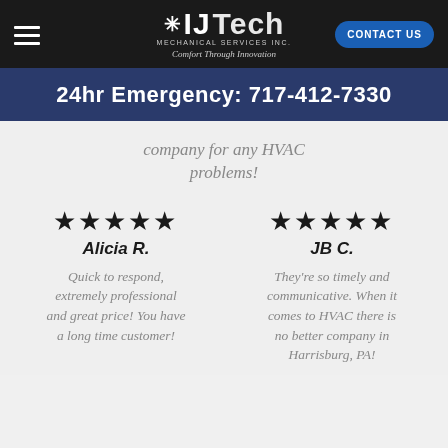IJ Tech Mechanical Services Inc. — Comfort Through Innovation | CONTACT US
24hr Emergency: 717-412-7330
company for any HVAC problems!
★★★★★ Alicia R. — Quick to respond, extremely professional and great price! You have a long time customer!
★★★★★ JB C. — They're so timely and communicative. When it comes to HVAC there is no better company in Harrisburg, PA!